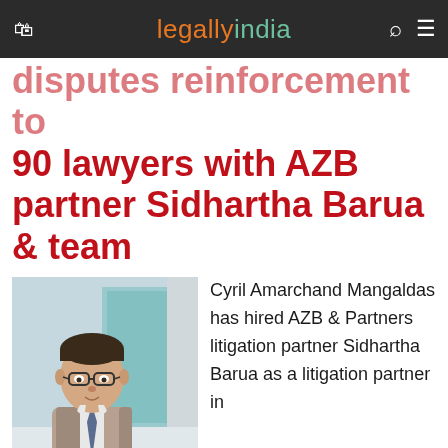legally india
disputes reinforcement to 90 lawyers with AZB partner Sidhartha Barua & team
[Figure (photo): Portrait photo of Sidhartha Barua, a man in a suit and tie with glasses, standing in front of a glass wall background]
Cyril Amarchand Mangaldas has hired AZB & Partners litigation partner Sidhartha Barua as a litigation partner in Delhi with seven AZB fee-earners.
16 JULY 2016